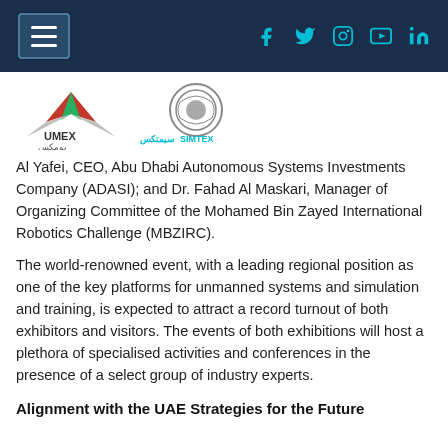Navigation header with hamburger menu and social icons (Facebook, Twitter, Instagram, YouTube, LinkedIn)
[Figure (logo): UMEX logo (Arabic and English) and SIMTEX logo side by side]
Al Yafei, CEO, Abu Dhabi Autonomous Systems Investments Company (ADASI); and Dr. Fahad Al Maskari, Manager of Organizing Committee of the Mohamed Bin Zayed International Robotics Challenge (MBZIRC).
The world-renowned event, with a leading regional position as one of the key platforms for unmanned systems and simulation and training, is expected to attract a record turnout of both exhibitors and visitors. The events of both exhibitions will host a plethora of specialised activities and conferences in the presence of a select group of industry experts.
Alignment with the UAE Strategies for the Future